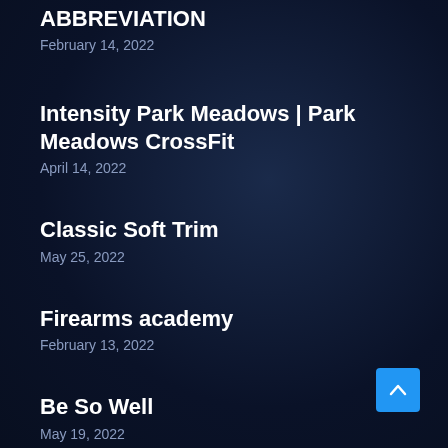ABBREVIATION
February 14, 2022
Intensity Park Meadows | Park Meadows CrossFit
April 14, 2022
Classic Soft Trim
May 25, 2022
Firearms academy
February 13, 2022
Be So Well
May 19, 2022